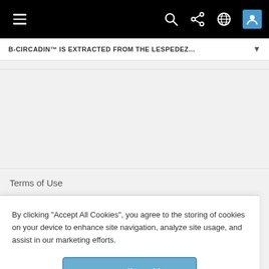Navigation bar with hamburger menu, search, share, globe, and user icons
B-CIRCADIN™ IS EXTRACTED FROM THE LESPEDEZ...
Terms of Use
By clicking "Accept All Cookies", you agree to the storing of cookies on your device to enhance site navigation, analyze site usage, and assist in our marketing efforts.
Accept All Cookies
Cookies Settings